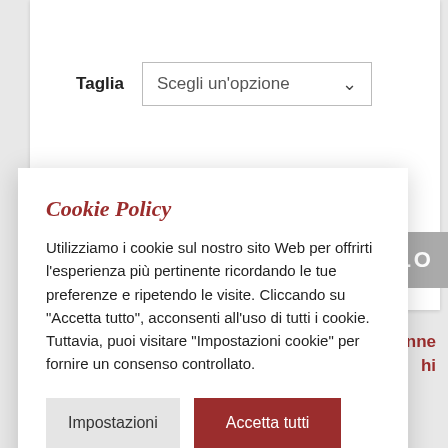Taglia
Scegli un'opzione
Cookie Policy
Utilizziamo i cookie sul nostro sito Web per offrirti l'esperienza più pertinente ricordando le tue preferenze e ripetendo le visite. Cliccando su "Accetta tutto", acconsenti all'uso di tutti i cookie. Tuttavia, puoi visitare "Impostazioni cookie" per fornire un consenso controllato.
Impostazioni
Accetta tutti